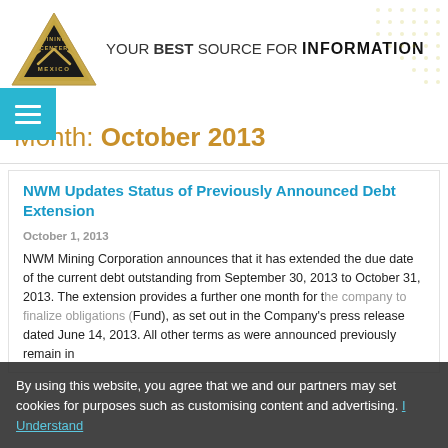[Figure (logo): Mining Center Mexico logo — gold triangle with pickaxes and text, with tagline YOUR BEST SOURCE FOR INFORMATION]
Month: October 2013
NWM Updates Status of Previously Announced Debt Extension
October 1, 2013
NWM Mining Corporation announces that it has extended the due date of the current debt outstanding from September 30, 2013 to October 31, 2013. The extension provides a further one month for the... (Fund), as set out in the Company's press release dated June 14, 2013. All other terms as were announced previously remain in
By using this website, you agree that we and our partners may set cookies for purposes such as customising content and advertising. I Understand